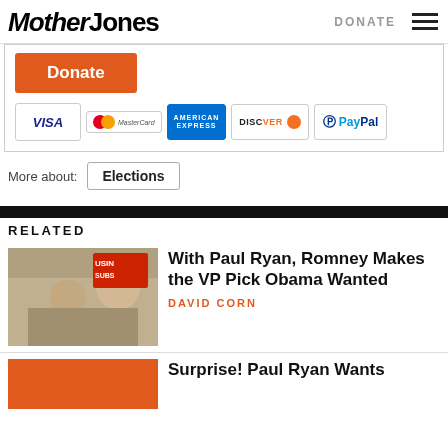Mother Jones | DONATE
[Figure (other): Donate button with payment method logos: VISA, MasterCard, American Express, Discover, PayPal]
More about: Elections
RELATED
[Figure (photo): Paul Ryan and Mitt Romney posing at a sandwich shop with two children]
With Paul Ryan, Romney Makes the VP Pick Obama Wanted
DAVID CORN
[Figure (other): Orange placeholder image for second related article]
Surprise! Paul Ryan Wants